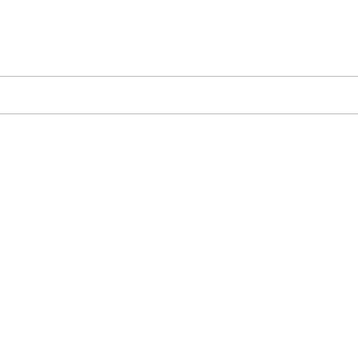Posted by Go4iT
[Figure (photo): A cargo ship viewed from the stern with dramatic storm clouds overhead over the ocean]
Posts: 115
Registered at: 2011-03-14 23:58:15
Posted by Go4iT (bottom row)